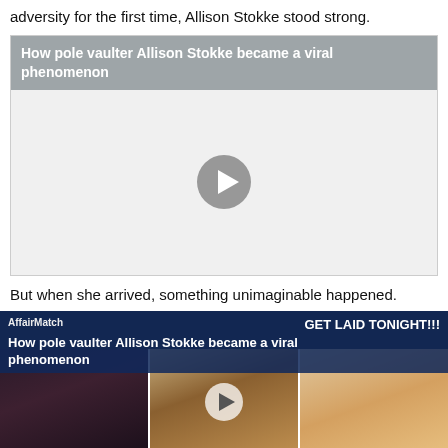adversity for the first time, Allison Stokke stood strong.
How pole vaulter Allison Stokke became a viral phenomenon
[Figure (screenshot): Embedded video player with gray play button on light gray background]
But when she arrived, something unimaginable happened.
[Figure (screenshot): Advertisement overlay on video card showing 'How pole vaulter Allison Stokke became a viral phenomenon' with AffairMatch logo and 'GET LAID TONIGHT!!!' text, with three thumbnail images of women below]